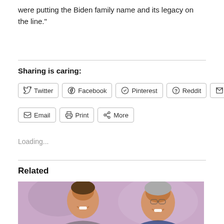were putting the Biden family name and its legacy on the line."
Sharing is caring:
[Figure (screenshot): Social sharing buttons: Twitter, Facebook, Pinterest, Reddit, Tumblr, Email, Print, More]
Loading...
Related
[Figure (photo): Photo of two men smiling, one younger and one older, against a purple background]